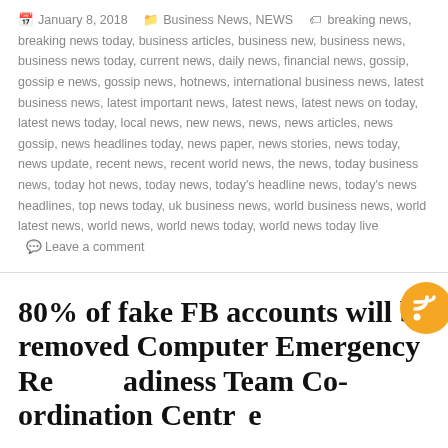January 8, 2018  Business News, NEWS  breaking news, breaking news today, business articles, business new, business news, business news today, current news, daily news, financial news, gossip, gossip e news, gossip news, hotnews, international business news, latest business news, latest important news, latest news, latest news on today, latest news today, local news, new news, news, news articles, news gossip, news headlines today, news paper, news stories, news today, news update, recent news, recent world news, the news, today business news, today hot news, today news, today's headline news, today's news headlines, top news today, uk business news, world business news, world latest news, world news, world news today, world news today live  Leave a comment
80% of fake FB accounts will be removed Computer Emergency Readiness Team Co-ordination Centre
The Principal Information Security Engineer of the